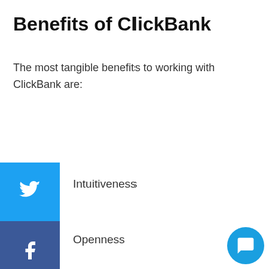Benefits of ClickBank
The most tangible benefits to working with ClickBank are:
Intuitiveness
Openness
Versatility
Wide product selection
Satisfactory commissions
The most significant benefit of ClickBank is its inherent ease of use. Marketers and vendors without much tech-savviness can use the platform with huge hassle. The registration process is simple,